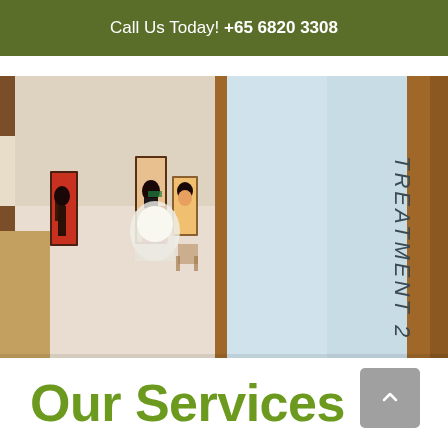Call Us Today! +65 6820 3308
[Figure (photo): Interior hallway of a medical clinic with warm wood-toned doors, artwork on cream walls, and a frosted glass panel labeled TREATMENT 2 on the right side]
Our Services